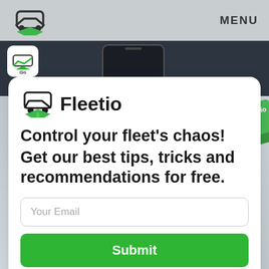MENU
[Figure (screenshot): Dark-themed app screenshot showing Fleetio Go mobile app interface with a phone mockup]
[Figure (logo): Fleetio logo: car icon with green chevron arrow and text 'Fleetio']
Control your fleet's chaos!
Get our best tips, tricks and recommendations for free.
Your Email
Submit